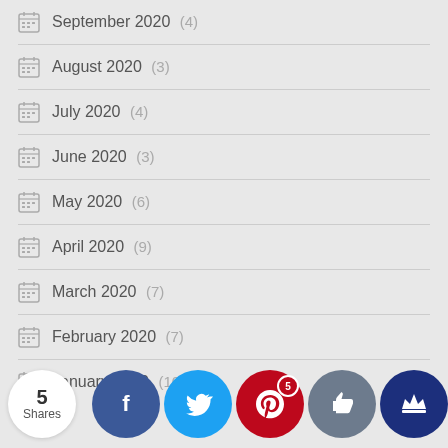September 2020 (4)
August 2020 (3)
July 2020 (4)
June 2020 (3)
May 2020 (6)
April 2020 (9)
March 2020 (7)
February 2020 (7)
January 2020 (10)
[Figure (infographic): Social share bar with 5 Shares badge, Facebook, Twitter, Pinterest (5), Like, and Crown buttons, plus partial December 2020 (5) text]